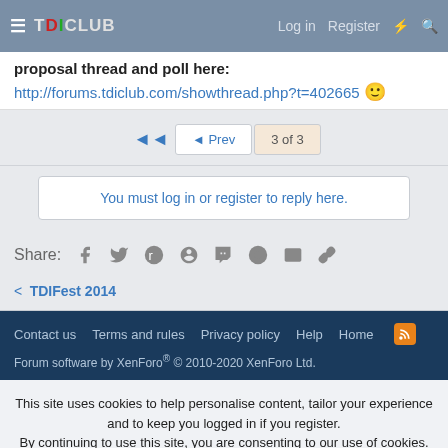TDICLUB | Log in | Register
proposal thread and poll here:
http://forums.tdiclub.com/showthread.php?t=402665 😊
◄◄  ◄ Prev  3 of 3
You must log in or register to reply here.
Share:
< TDIFest 2014
Contact us  Terms and rules  Privacy policy  Help  Home | Forum software by XenForo® © 2010-2020 XenForo Ltd.
This site uses cookies to help personalise content, tailor your experience and to keep you logged in if you register. By continuing to use this site, you are consenting to our use of cookies.
✔ Accept  Learn more...